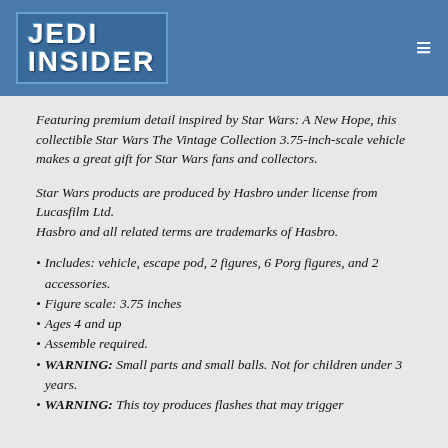JEDI INSIDER
Featuring premium detail inspired by Star Wars: A New Hope, this collectible Star Wars The Vintage Collection 3.75-inch-scale vehicle makes a great gift for Star Wars fans and collectors.
Star Wars products are produced by Hasbro under license from Lucasfilm Ltd.
Hasbro and all related terms are trademarks of Hasbro.
Includes: vehicle, escape pod, 2 figures, 6 Porg figures, and 2 accessories.
Figure scale: 3.75 inches
Ages 4 and up
Assemble required.
WARNING: Small parts and small balls. Not for children under 3 years.
WARNING: This toy produces flashes that may trigger